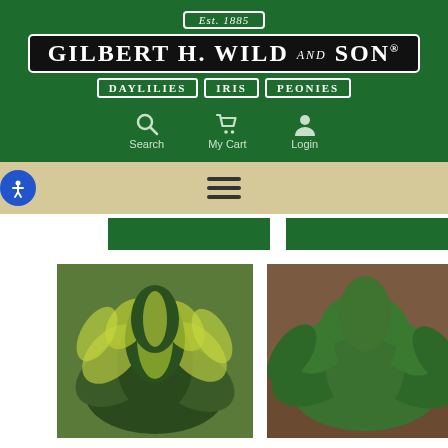[Figure (logo): Gilbert H. Wild and Son logo on dark green background. Est. 1885 badge at top. Company name in large serif font. Daylilies, Iris, Peonies category badges below.]
[Figure (screenshot): Website navigation bar with Search, My Cart, and Login icons on dark green background.]
[Figure (screenshot): Beige navigation bar with hamburger menu icon and accessibility button.]
[Figure (photo): Two hosta plant photos side by side. Left: variegated hosta with yellow-green and dark green leaves. Right: solid green hosta plant.]